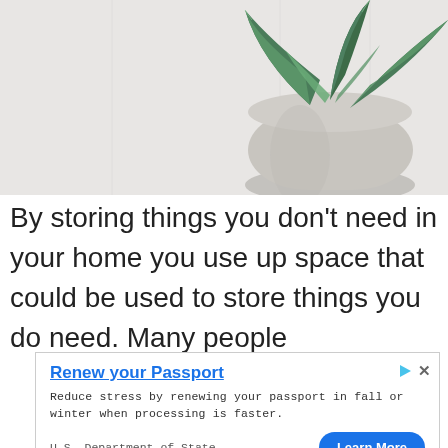[Figure (photo): Close-up photo of a succulent plant in a grey concrete pot against a light grey background. Green leaves visible at top, rounded grey pot in lower right.]
By storing things you don't need in your home you use up space that could be used to store things you do need. Many people
[Figure (other): Advertisement banner: 'Renew your Passport' from U.S. Department of State. Body text: 'Reduce stress by renewing your passport in fall or winter when processing is faster.' Button: 'Learn More']